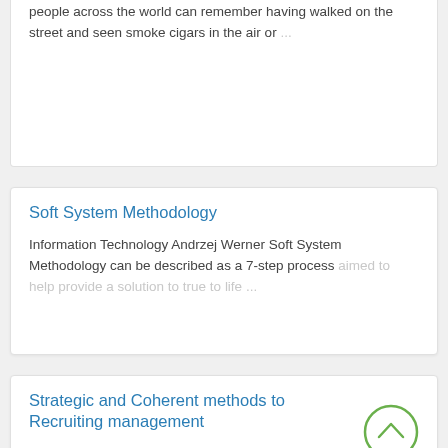people across the world can remember having walked on the street and seen smoke cigars in the air or ...
Soft System Methodology
Information Technology Andrzej Werner Soft System Methodology can be described as a 7-step process aimed to help provide a solution to true to life ...
Strategic and Coherent methods to Recruiting management
Business Traditionally HRM has been regarded as the tactical and coherent method of the management of the organizations most appreciated assets – the ...